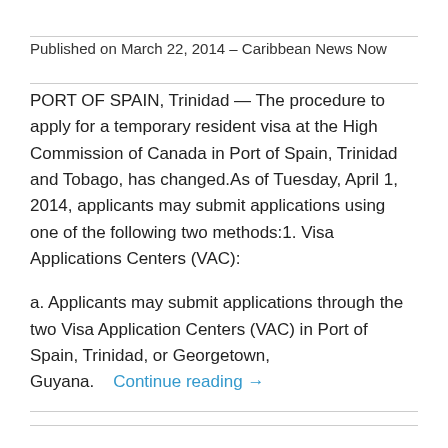Published on March 22, 2014 – Caribbean News Now
PORT OF SPAIN, Trinidad — The procedure to apply for a temporary resident visa at the High Commission of Canada in Port of Spain, Trinidad and Tobago, has changed.As of Tuesday, April 1, 2014, applicants may submit applications using one of the following two methods:1. Visa Applications Centers (VAC):
a. Applicants may submit applications through the two Visa Application Centers (VAC) in Port of Spain, Trinidad, or Georgetown, Guyana.    Continue reading →